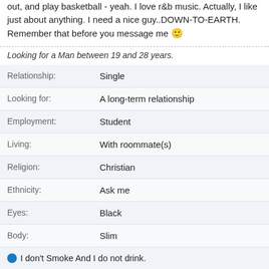out, and play basketball - yeah. I love r&b music. Actually, I like just about anything. I need a nice guy..DOWN-TO-EARTH. Remember that before you message me 🙂
Looking for a Man between 19 and 28 years.
| Relationship: | Single |
| Looking for: | A long-term relationship |
| Employment: | Student |
| Living: | With roommate(s) |
| Religion: | Christian |
| Ethnicity: | Ask me |
| Eyes: | Black |
| Body: | Slim |
I don't Smoke And I do not drink.